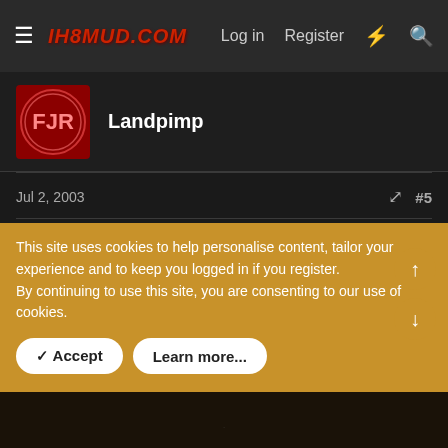IH8MUD.COM  Log in  Register
Landpimp
Jul 2, 2003  #5
79+ fj40's came with 3.70's stock.

FWIW I used 4.11's ring and pinions(thanks Junk and JH) out of the rear of 2 fj80's(fzj same) when I went from 3.70 in my fj60, nice swap and makes more difference then you would think(as it's not a big jump numericaly)
This site uses cookies to help personalise content, tailor your experience and to keep you logged in if you register.
By continuing to use this site, you are consenting to our use of cookies.
✓ Accept   Learn more...